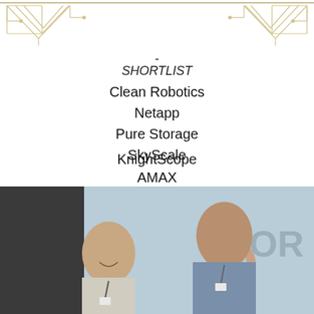[Figure (illustration): Decorative geometric header with gold/tan chevron and circuit-board line patterns on left and right sides, with a horizontal rule at top]
-
SHORTLIST
Clean Robotics
Netapp
Pure Storage
SkyScale
KnightScope
AMAX
[Figure (photo): Two men standing in front of a Pure Storage banner/backdrop. Left man is smiling, wearing a light suit. Right man is taller, wearing a blue/grey shirt with a conference badge.]